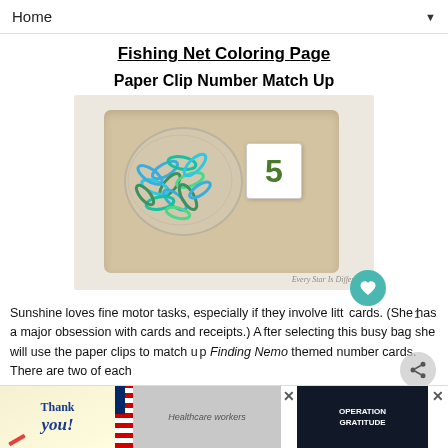Home ▼
Fishing Net Coloring Page
Paper Clip Number Match Up
[Figure (photo): A wooden tray containing a clear glass bowl filled with colorful blue and green paper clips, and a small white card showing the number 5. Watermark reads 'Every Star Is Different'.]
Sunshine loves fine motor tasks, especially if they involve litt cards.  (She has a major obsession with cards and receipts.)  After selecting this busy bag she will use the paper clips to match up Finding Nemo themed number cards.  There are two of each num... to li...
[Figure (photo): Advertisement banner: 'Thank you!' with American flag and Operation Gratitude logo showing healthcare workers.]